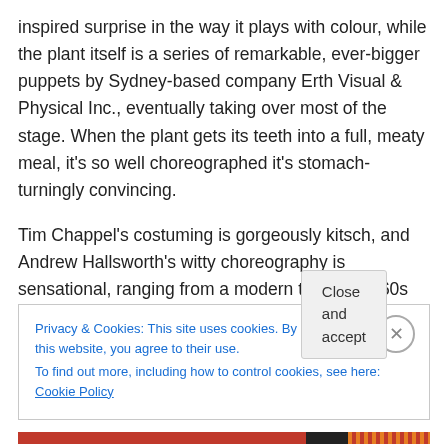inspired surprise in the way it plays with colour, while the plant itself is a series of remarkable, ever-bigger puppets by Sydney-based company Erth Visual & Physical Inc., eventually taking over most of the stage. When the plant gets its teeth into a full, meaty meal, it's so well choreographed it's stomach-turningly convincing.
Tim Chappel's costuming is gorgeously kitsch, and Andrew Hallsworth's witty choreography is sensational, ranging from a modern take on 1960s girl group moves to a hilarious Russian/Jewish folk dance with squatting kicks
Privacy & Cookies: This site uses cookies. By continuing to use this website, you agree to their use.
To find out more, including how to control cookies, see here: Cookie Policy